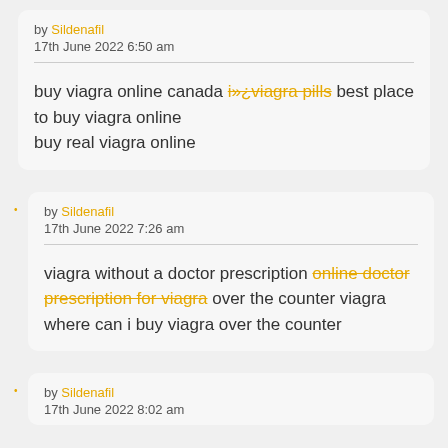by Sildenafil
17th June 2022  6:50 am
buy viagra online canada i»¿viagra pills best place to buy viagra online
buy real viagra online
by Sildenafil
17th June 2022  7:26 am
viagra without a doctor prescription online doctor prescription for viagra over the counter viagra where can i buy viagra over the counter
by Sildenafil
17th June 2022  8:02 am